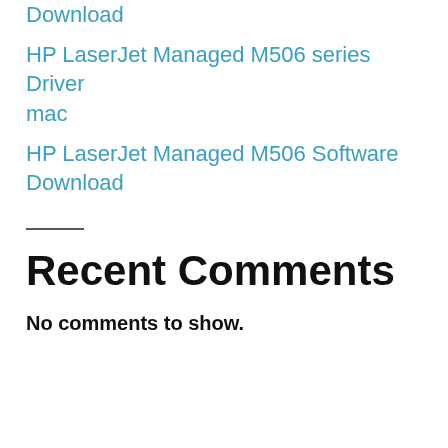Download
HP LaserJet Managed M506 series Driver mac
HP LaserJet Managed M506 Software Download
Recent Comments
No comments to show.